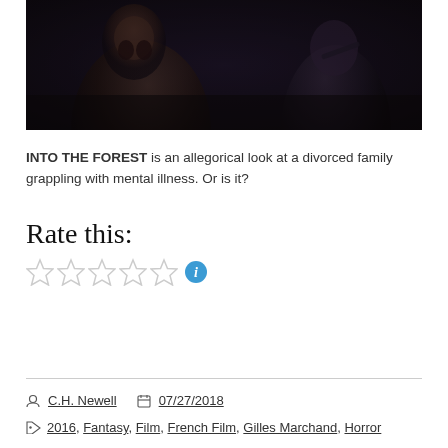[Figure (photo): Dark movie still showing two figures in low-light/shadow — one facing forward on the left, one partially visible on the right holding something]
INTO THE FOREST is an allegorical look at a divorced family grappling with mental illness. Or is it?
Rate this:
[Figure (other): Five empty/outline star rating widget followed by a blue info icon]
C.H. Newell  07/27/2018  2016, Fantasy, Film, French Film, Gilles Marchand, Horror